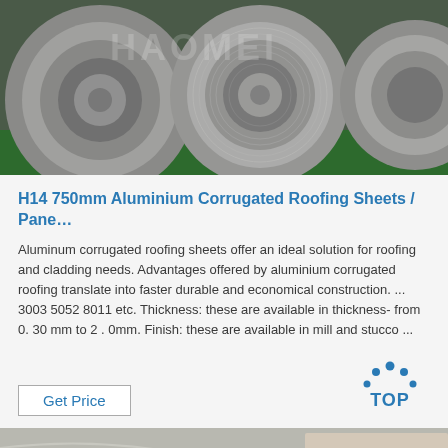[Figure (photo): Large rolls of aluminium coil stacked in a warehouse/factory setting on a green floor. A watermark logo is visible in the upper portion.]
H14 750mm Aluminium Corrugated Roofing Sheets / Pane…
Aluminum corrugated roofing sheets offer an ideal solution for roofing and cladding needs. Advantages offered by aluminium corrugated roofing translate into faster durable and economical construction. ... 3003 5052 8011 etc. Thickness: these are available in thickness- from 0. 30 mm to 2 . 0mm. Finish: these are available in mill and stucco ...
[Figure (logo): TOP logo with blue dots arranged in an arc above the word TOP in blue text]
[Figure (photo): Close-up of aluminium coil rolls with handwritten labels visible on the surface]